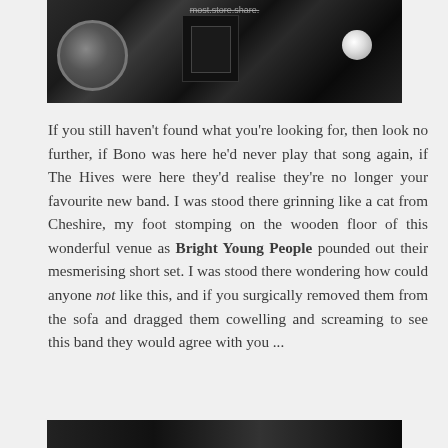[Figure (photo): Black and white photo of a drum kit and musical equipment on a stage, partially visible at the top of the page]
If you still haven't found what you're looking for, then look no further, if Bono was here he'd never play that song again, if The Hives were here they'd realise they're no longer your favourite new band. I was stood there grinning like a cat from Cheshire, my foot stomping on the wooden floor of this wonderful venue as Bright Young People pounded out their mesmerising short set. I was stood there wondering how could anyone not like this, and if you surgically removed them from the sofa and dragged them cowelling and screaming to see this band they would agree with you ...
[Figure (photo): Black and white photo partially visible at the bottom of the page]